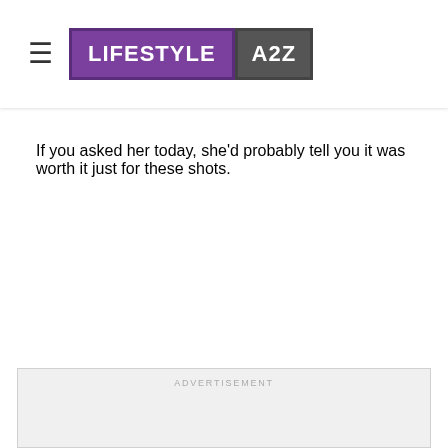LIFESTYLE A2Z
If you asked her today, she'd probably tell you it was worth it just for these shots.
[Figure (other): Advertisement placeholder box with 'ADVERTISEMENT' label at top, light gray background]